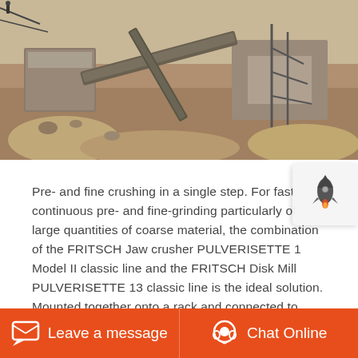[Figure (photo): Aerial or wide view of a quarry or construction excavation site with large stone blocks, conveyors, scaffolding and sandy terrain.]
Pre- and fine crushing in a single step. For fast, continuous pre- and fine-grinding particularly of large quantities of coarse material, the combination of the FRITSCH Jaw crusher PULVERISETTE 1 Model II classic line and the FRITSCH Disk Mill PULVERISETTE 13 classic line is the ideal solution. Mounted together onto a rack and connected to each … tinuous operation or directly into a FRITSCH Disk Mill PULVERISETTE 13 for further comminution. Saves time and energy the especially simple crushing jaw removal takes only seconds and requires only two hand motions to ensure
Leave a message   Chat Online